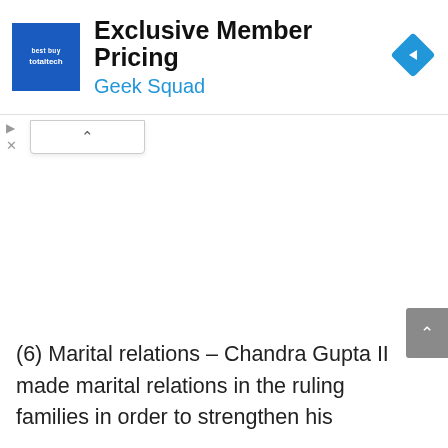[Figure (screenshot): Best Buy Total Tech advertisement banner showing 'Exclusive Member Pricing' and 'Geek Squad' with a blue square logo on the left and a blue diamond navigation icon on the right]
(6) Marital relations – Chandra Gupta II made marital relations in the ruling families in order to strengthen his